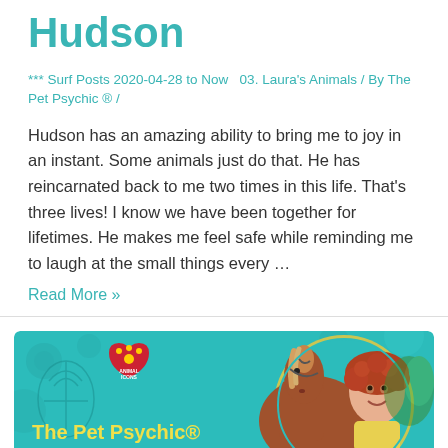Hudson
*** Surf Posts 2020-04-28 to Now  03. Laura's Animals / By The Pet Psychic ® /
Hudson has an amazing ability to bring me to joy in an instant. Some animals just do that. He has reincarnated back to me two times in this life. That's three lives! I know we have been together for lifetimes. He makes me feel safe while reminding me to laugh at the small things every …
Read More »
[Figure (illustration): Banner advertisement for The Pet Psychic® and Sunny, showing a teal background with decorative dots and paw graphic, a red heart logo with paw prints, yellow text reading 'The Pet Psychic® and Sunny', and a circular photo of a woman with curly red hair next to a brown horse]